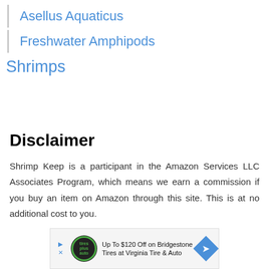Asellus Aquaticus
Freshwater Amphipods
Shrimps
Disclaimer
Shrimp Keep is a participant in the Amazon Services LLC Associates Program, which means we earn a commission if you buy an item on Amazon through this site. This is at no additional cost to you.
[Figure (infographic): Advertisement banner: Up To $120 Off on Bridgestone Tires at Virginia Tire & Auto, with Tires Plus Auto logo and blue diamond arrow icon]